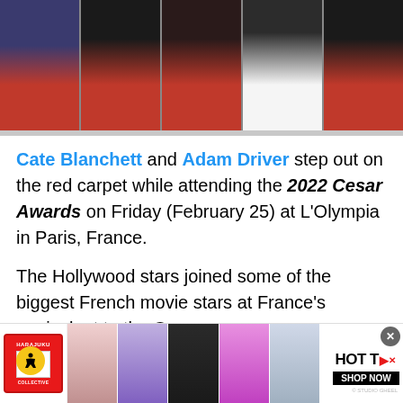[Figure (photo): Top photo strip showing red carpet attendees at the 2022 Cesar Awards, multiple celebrities in formal wear against red carpet backdrop]
Cate Blanchett and Adam Driver step out on the red carpet while attending the 2022 Cesar Awards on Friday (February 25) at L'Olympia in Paris, France.
The Hollywood stars joined some of the biggest French movie stars at France's equivalent to the Oscars.
Cate was there to receiver the Honorary Cesar
[Figure (photo): Bottom advertisement banner for Harajuku Collective / HOT T shop, showing fashion models in various outfits against colored backgrounds]